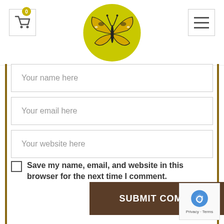[Figure (screenshot): Website header with shopping cart button (badge showing 0), central butterfly logo on yellow-green circle, and hamburger menu button on right]
Your name here
Your email here
Your website here
Save my name, email, and website in this browser for the next time I comment.
SUBMIT COMMENT